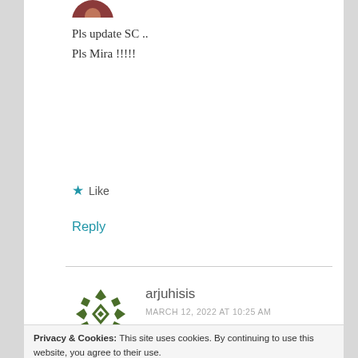[Figure (photo): Partial avatar image at top, circular profile photo cropped]
Pls update SC ..
Pls Mira !!!!!
★ Like
Reply
[Figure (illustration): Green geometric diamond/snowflake pattern avatar for user arjuhisis]
arjuhisis
MARCH 12, 2022 AT 10:25 AM
Privacy & Cookies: This site uses cookies. By continuing to use this website, you agree to their use.
To find out more, including how to control cookies, see here: Cookie Policy
Close and accept
Hope all is well with all members in this blog.